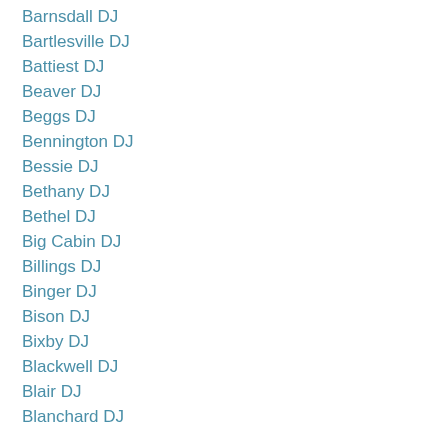Barnsdall DJ
Bartlesville DJ
Battiest DJ
Beaver DJ
Beggs DJ
Bennington DJ
Bessie DJ
Bethany DJ
Bethel DJ
Big Cabin DJ
Billings DJ
Binger DJ
Bison DJ
Bixby DJ
Blackwell DJ
Blair DJ
Blanchard DJ